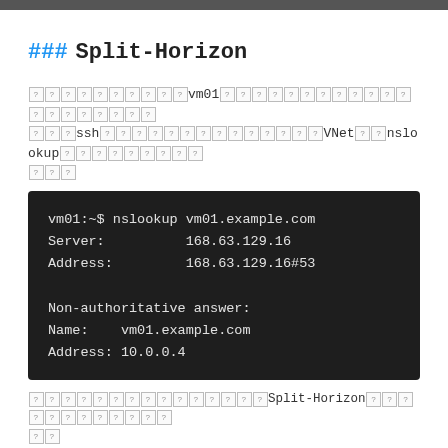[top bar]
### Split-Horizon
[garbled text] vm01 [garbled] ssh [garbled] VNet [garbled] nslookup [garbled]
[Figure (screenshot): Terminal output showing nslookup vm01.example.com command with Server 168.63.129.16, Address 168.63.129.16#53, Non-authoritative answer: Name vm01.example.com, Address 10.0.0.4]
[garbled text] Split-Horizon [garbled]
[garbled text] Split-Horizon [garbled]